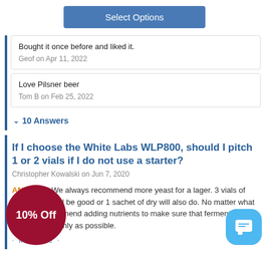Select Options
Bought it once before and liked it.
Geof on Apr 11, 2022
Love Pilsner beer
Tom B on Feb 25, 2022
10 Answers
If I choose the White Labs WLP800, should I pitch 1 or 2 vials if I do not use a starter?
Christopher Kowalski on Jun 7, 2020
ANSWER: We always recommend more yeast for a lager. 3 vials of liquid yeast will be good or 1 sachet of dry will also do. No matter what we also recommend adding nutrients to make sure that fermentation goes as smoothly as possible.
Inaccurate
10% Off